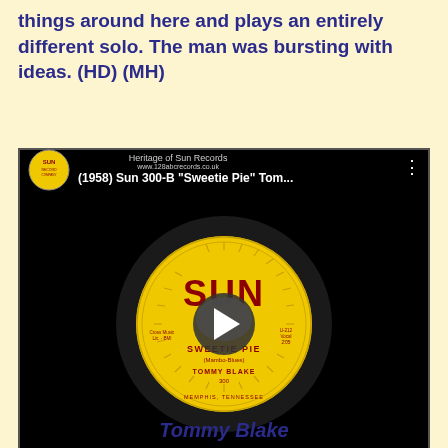things around here and plays an entirely different solo. The man was bursting with ideas. (HD) (MH)
[Figure (screenshot): YouTube video thumbnail for '(1958) Sun 300-B "Sweetie Pie" Tom...' from the Heritage of Sun Records channel. Shows a Sun Records yellow vinyl label with the song 'Sweetie Pie' by Tommy Blake. A play button is overlaid in the center.]
Tommy Blake